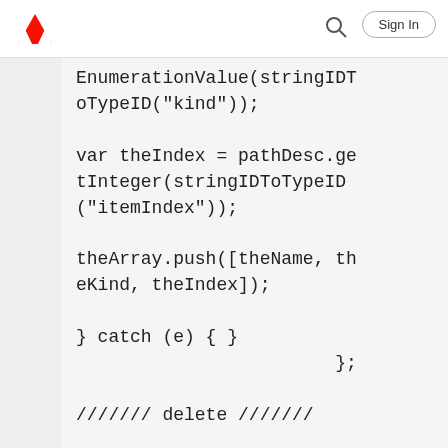Adobe Sign In
EnumerationValue(stringIDToTypeID("kind"));

var theIndex = pathDesc.getInteger(stringIDToTypeID("itemIndex"));

theArray.push([theName, theKind, theIndex]);

} catch (e) { }
                            };

/////// delete ///////